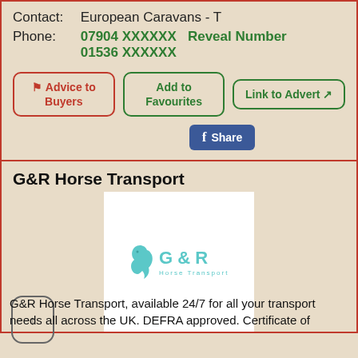Contact:  European Caravans - T
Phone:  07904 XXXXXX   Reveal Number
01536 XXXXXX
⚑ Advice to Buyers
Add to Favourites
Link to Advert ↗
[Figure (logo): Facebook Share button]
G&R Horse Transport
[Figure (logo): G&R Horse Transport logo — teal horse head icon with G & R text]
G&R Horse Transport, available 24/7 for all your transport needs all across the UK. DEFRA approved. Certificate of